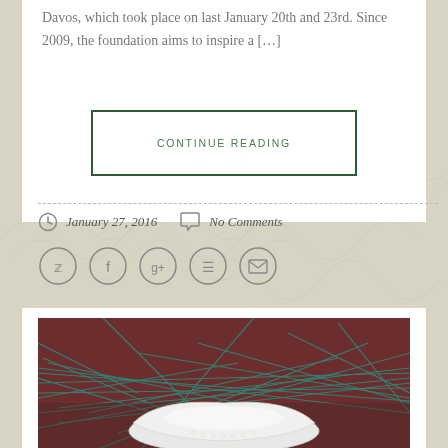Davos, which took place on last January 20th and 23rd. Since 2009, the foundation aims to inspire a […]
CONTINUE READING
January 27, 2016   No Comments
[Figure (photo): Photo of a white ceramic bowl or shoe-like object resting on teal/green fibrous material (possibly fishing net or natural fibers) against a dark reddish-brown background.]